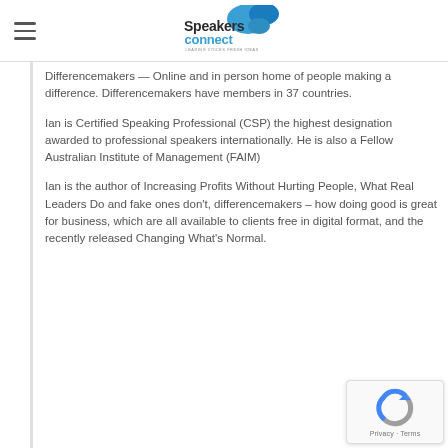Speakers Connect — Leading Voices Fresh Ideas
Differencemakers — Online and in person home of people making a difference. Differencemakers have members in 37 countries.
Ian is Certified Speaking Professional (CSP) the highest designation awarded to professional speakers internationally. He is also a Fellow Australian Institute of Management (FAIM)
Ian is the author of Increasing Profits Without Hurting People, What Real Leaders Do and fake ones don't, differencemakers – how doing good is great for business, which are all available to clients free in digital format, and the recently released Changing What's Normal.